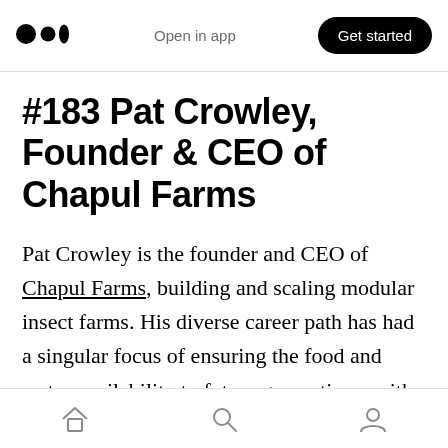Open in app | Get started
#183 Pat Crowley, Founder & CEO of Chapul Farms
Pat Crowley is the founder and CEO of Chapul Farms, building and scaling modular insect farms. His diverse career path has had a singular focus of ensuring the food and water availability to future generations, with previous positions as a climate modeler, hydrologist, and agronomist in public and private sectors, and has more than 15 years working in the field of sustainable food and agriculture. He is founder of Chapul LLC
Home | Search | Profile